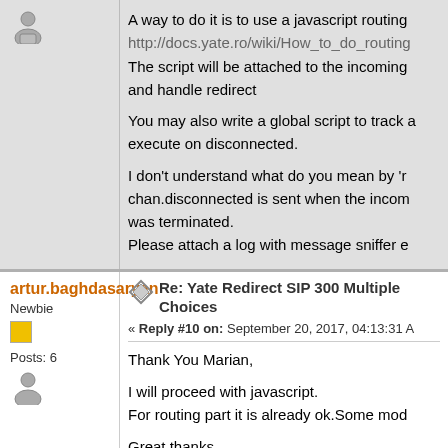A way to do it is to use a javascript routing http://docs.yate.ro/wiki/How_to_do_routing The script will be attached to the incoming and handle redirect

You may also write a global script to track a execute on disconnected.

I don't understand what do you mean by 'r chan.disconnected is sent when the incom was terminated.
Please attach a log with message sniffer e
artur.baghdasaryan
Newbie
Posts: 6
Re: Yate Redirect SIP 300 Multiple Choices
« Reply #10 on: September 20, 2017, 04:13:31 A
Thank You Marian,

I will proceed with javascript.
For routing part it is already ok.Some mod

Great thanks.